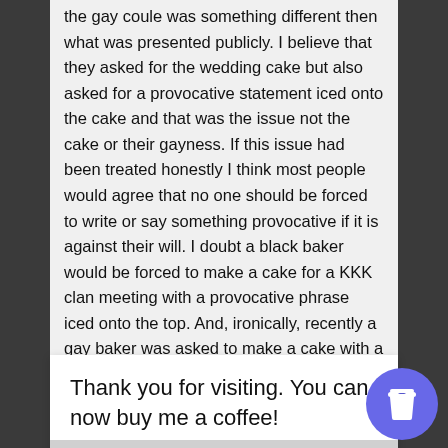the gay coule was something different then what was presented publicly. I believe that they asked for the wedding cake but also asked for a provocative statement iced onto the cake and that was the issue not the cake or their gayness. If this issue had been treated honestly I think most people would agree that no one should be forced to write or say something provocative if it is against their will. I doubt a black baker would be forced to make a cake for a KKK clan meeting with a provocative phrase iced onto the top. And, ironically, recently a gay baker was asked to make a cake with a provocative anti-gay message on it. They refused and somehow this event is not news worthy. The speech is free and should be free but forcing others to speak against their views and
Thank you for visiting. You can now buy me a coffee!
[Figure (illustration): Blue circular coffee cup button with a white takeaway coffee cup icon]